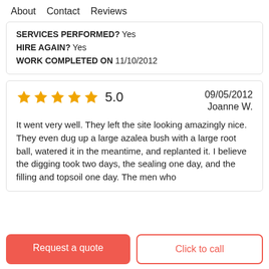About   Contact   Reviews
SERVICES PERFORMED? Yes
HIRE AGAIN? Yes
WORK COMPLETED ON 11/10/2012
5.0   09/05/2012   Joanne W.
It went very well. They left the site looking amazingly nice. They even dug up a large azalea bush with a large root ball, watered it in the meantime, and replanted it. I believe the digging took two days, the sealing one day, and the filling and topsoil one day. The men who
Request a quote
Click to call